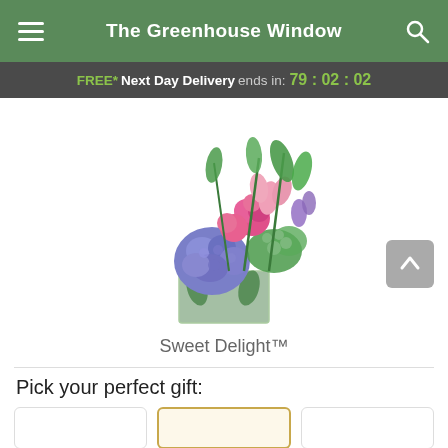The Greenhouse Window
FREE* Next Day Delivery ends in: 79:02:02
[Figure (photo): Floral arrangement called Sweet Delight in a square glass vase, featuring blue hydrangeas, pink roses, pink alstroemeria, purple flowers, and green berries with foliage]
Sweet Delight™
Pick your perfect gift: